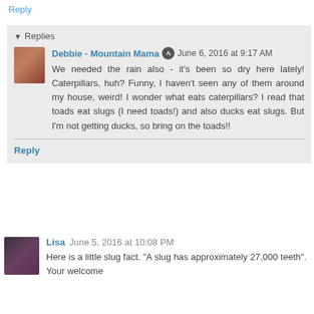Reply
Replies
Debbie - Mountain Mama  June 6, 2016 at 9:17 AM
We needed the rain also - it's been so dry here lately! Caterpillars, huh? Funny, I haven't seen any of them around my house, weird! I wonder what eats caterpillars? I read that toads eat slugs (I need toads!) and also ducks eat slugs. But I'm not getting ducks, so bring on the toads!!
Reply
Lisa  June 5, 2016 at 10:08 PM
Here is a little slug fact. "A slug has approximately 27,000 teeth".
Your welcome